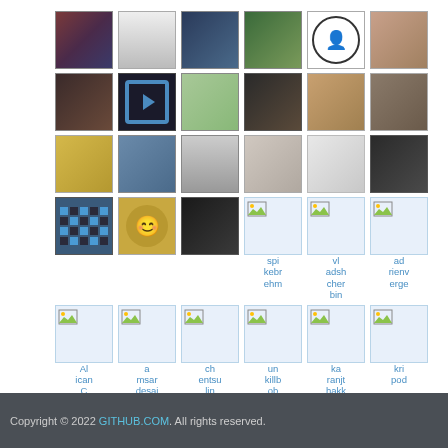[Figure (other): Grid of user avatars (profile photos/icons) arranged in 5 rows of 6 columns, some showing broken image placeholders with usernames as alt text labels beneath them]
Copyright © 2022 GITHUB.COM. All rights reserved.